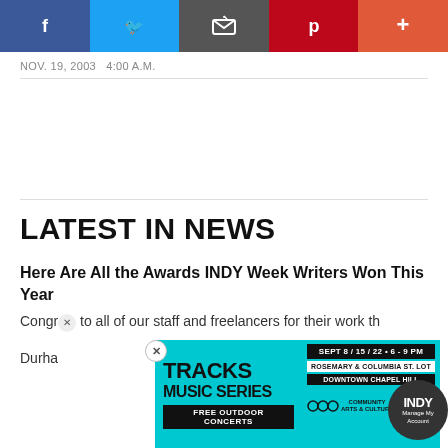[Figure (screenshot): Social sharing bar with Facebook, Twitter, Email, Pinterest, and Plus buttons]
NOV. 19, 2003   4:00 A.M.
LATEST IN NEWS
Here Are All the Awards INDY Week Writers Won This Year
Congr... to all of our staff and freelancers for their work th...
Durha...
[Figure (infographic): Tracks Music Series advertisement — SEPT 8/15/22 · 6-9 PM, Rosemary & Columbia St. Lot, Downtown Chapel Hill, Free Outdoor Concerts, Community Arts & Culture, XD CH, INDY Manage My Account]